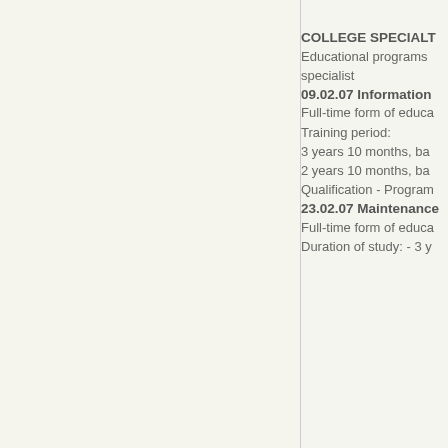COLLEGE SPECIALIST
Educational programs specialist
09.02.07 Information
Full-time form of educa
Training period:
3 years 10 months, ba
2 years 10 months, ba
Qualification - Program
23.02.07 Maintenance
Full-time form of educa
Duration of study: - 3 y